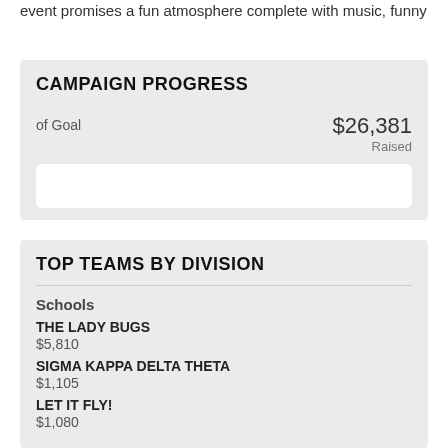event promises a fun atmosphere complete with music, funny
View More
CAMPAIGN PROGRESS
of Goal
$26,381 Raised
TOP TEAMS BY DIVISION
Schools
THE LADY BUGS
$5,810
SIGMA KAPPA DELTA THETA
$1,105
LET IT FLY!
$1,080